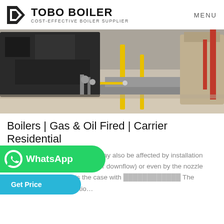TOBO BOILER — COST-EFFECTIVE BOILER SUPPLIER — MENU
[Figure (photo): Industrial boiler equipment in a warehouse/factory setting, showing a black boiler unit with yellow support poles and machinery components on a concrete floor.]
Boilers | Gas & Oil Fired | Carrier Residential
Some products, like furnaces, may also be affected by installation orientation (horizontal, upflow, or downflow) or even by the nozzle used in installation, as is the case with ... The efficiency of an air conditio...